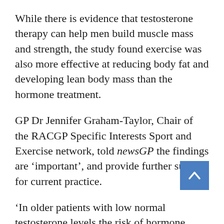While there is evidence that testosterone therapy can help men build muscle mass and strength, the study found exercise was also more effective at reducing body fat and developing lean body mass than the hormone treatment.
GP Dr Jennifer Graham-Taylor, Chair of the RACGP Specific Interests Sport and Exercise network, told newsGP the findings are 'important', and provide further support for current practice.
'In older patients with low normal testosterone levels the risk of hormone replacement may outweigh potential benefits,' she said.
[Figure (other): Blue scroll-to-top button with upward-pointing chevron arrow]
'However, the multiple benefits of exercise in aspects of health, including vascular health, are well